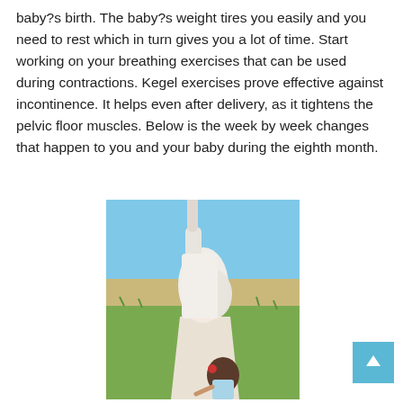baby?s birth. The baby?s weight tires you easily and you need to rest which in turn gives you a lot of time. Start working on your breathing exercises that can be used during contractions. Kegel exercises prove effective against incontinence. It helps even after delivery, as it tightens the pelvic floor muscles. Below is the week by week changes that happen to you and your baby during the eighth month.
[Figure (photo): A pregnant woman in a white dress standing in a field, holding the hand of a young girl with a red flower in her hair.]